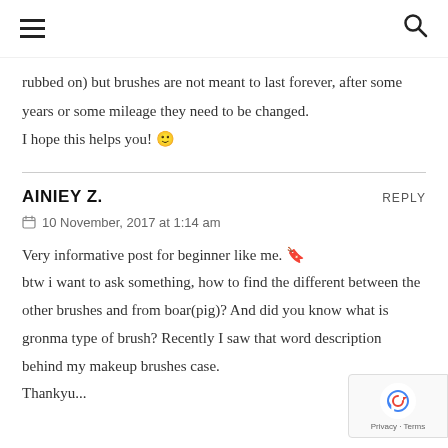≡  🔍
rubbed on) but brushes are not meant to last forever, after some years or some mileage they need to be changed.
I hope this helps you! 🙂
AINIEY Z.
REPLY
10 November, 2017 at 1:14 am
Very informative post for beginner like me. 🔖 btw i want to ask something, how to find the different between the other brushes and from boar(pig)? And did you know what is gronma type of brush? Recently I saw that word description behind my makeup brushes case.
Thankyu...